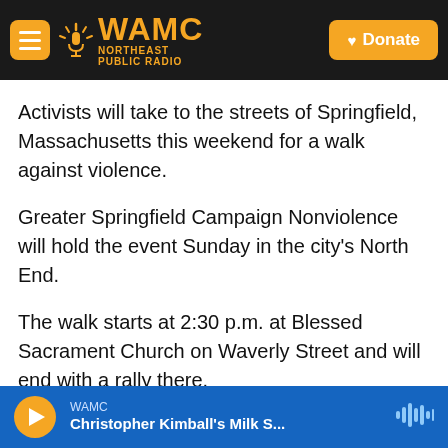WAMC NORTHEAST PUBLIC RADIO | Donate
Activists will take to the streets of Springfield, Massachusetts this weekend for a walk against violence.
Greater Springfield Campaign Nonviolence will hold the event Sunday in the city’s North End.
The walk starts at 2:30 p.m. at Blessed Sacrament Church on Waverly Street and will end with a rally there.
Rev. Lauren Holm, pastor of Bethesda Lutheran Church is the chair of the campaign. She spoke
WAMC | Christopher Kimball’s Milk S...